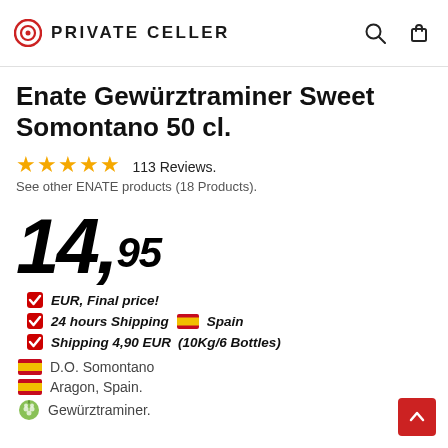PRIVATE CELLER
Enate Gewürztraminer Sweet Somontano 50 cl.
★★★★★ 113 Reviews. See other ENATE products (18 Products).
14,95
EUR, Final price!
24 hours Shipping 🇪🇸 Spain
Shipping 4,90 EUR (10Kg/6 Bottles)
D.O. Somontano
Aragon, Spain.
Gewürztraminer.